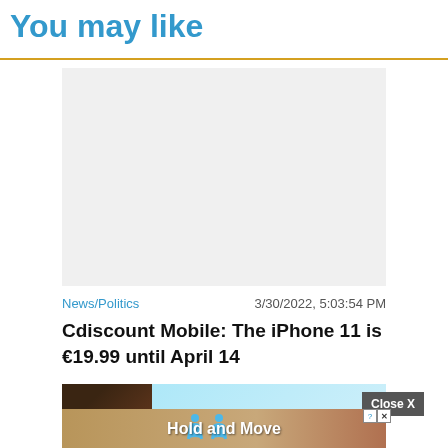You may like
[Figure (photo): Placeholder/blank light gray image area for article thumbnail]
News/Politics   3/30/2022, 5:03:54 PM
Cdiscount Mobile: The iPhone 11 is €19.99 until April 14
[Figure (photo): Advertisement banner showing a person with curly hair against a light blue background with 'Close X' button overlay]
[Figure (photo): Advertisement banner with 'Hold and Move' text and blue figures on a wooden/tan background, with info and close buttons]